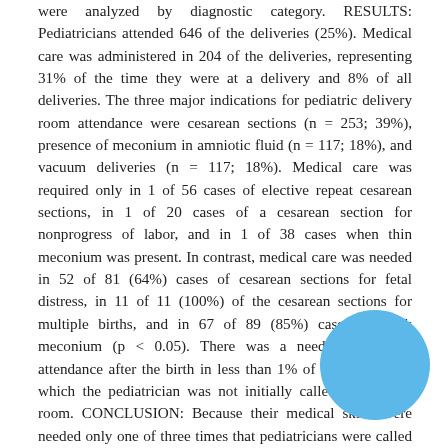were analyzed by diagnostic category. RESULTS: Pediatricians attended 646 of the deliveries (25%). Medical care was administered in 204 of the deliveries, representing 31% of the time they were at a delivery and 8% of all deliveries. The three major indications for pediatric delivery room attendance were cesarean sections (n = 253; 39%), presence of meconium in amniotic fluid (n = 117; 18%), and vacuum deliveries (n = 117; 18%). Medical care was required only in 1 of 56 cases of elective repeat cesarean sections, in 1 of 20 cases of a cesarean section for nonprogress of labor, and in 1 of 38 cases when thin meconium was present. In contrast, medical care was needed in 52 of 81 (64%) cases of cesarean sections for fetal distress, in 11 of 11 (100%) of the cesarean sections for multiple births, and in 67 of 89 (85%) cases of thick meconium (p < 0.05). There was a need for medical attendance after the birth in less than 1% of 1908 cases for which the pediatrician was not initially called to delivery room. CONCLUSION: Because their medical skills were needed only one of three times that pediatricians were called to the delivery room, and then mostly in specific risk situations, more selective use of pediatric manpower for delivery room coverage may lead to a more efficient use of medical resources without any apparent increase in patient morbidity. (J Perinatal 1998;18: 131-4.).